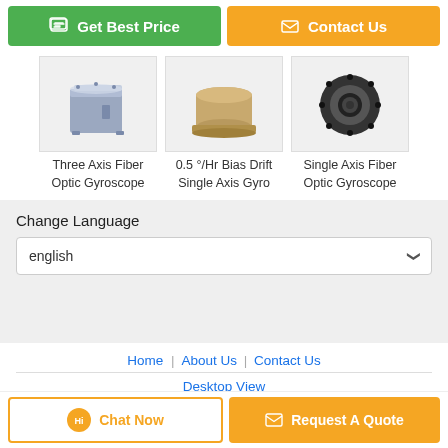[Figure (screenshot): Two call-to-action buttons: green 'Get Best Price' and orange 'Contact Us']
[Figure (photo): Three product images: Three Axis Fiber Optic Gyroscope (blue-gray cube), 0.5 deg/Hr Bias Drift Single Axis Gyro (tan cylinder), Single Axis Fiber Optic Gyroscope (black ring)]
Three Axis Fiber Optic Gyroscope
0.5 °/Hr Bias Drift Single Axis Gyro
Single Axis Fiber Optic Gyroscope
Change Language
english
Home | About Us | Contact Us
Desktop View
Copyright © 2020 - 2022 intertialnavigation.com. All rights reserved.
[Figure (screenshot): Two bottom buttons: 'Chat Now' (outlined orange) and 'Request A Quote' (solid orange)]